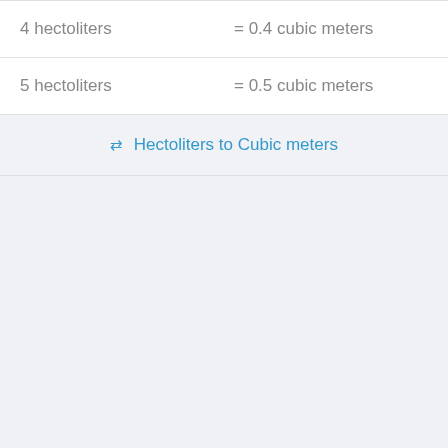| 4 hectoliters | = 0.4 cubic meters |
| 5 hectoliters | = 0.5 cubic meters |
⇄ Hectoliters to Cubic meters